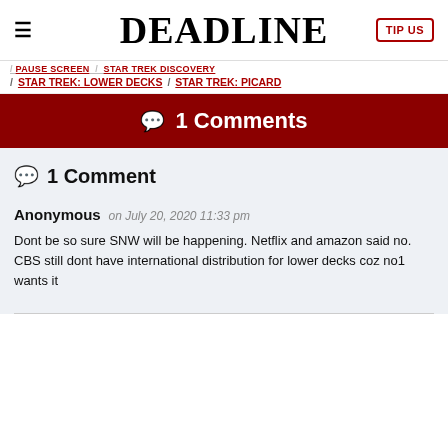DEADLINE
/ STAR TREK: LOWER DECKS / STAR TREK: PICARD
💬 1 Comments
💬 1 Comment
Anonymous on July 20, 2020 11:33 pm
Dont be so sure SNW will be happening. Netflix and amazon said no.
CBS still dont have international distribution for lower decks coz no1 wants it